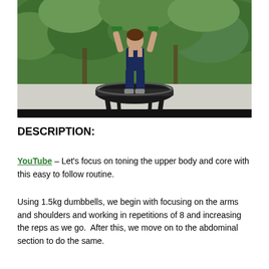[Figure (photo): A woman in navy blue athletic wear standing on a mini trampoline outdoors, holding dumbbells raised above her head. Green trees visible in the background. A black strip at the bottom of the image.]
DESCRIPTION:
YouTube – Let's focus on toning the upper body and core with this easy to follow routine.
Using 1.5kg dumbbells, we begin with focusing on the arms and shoulders and working in repetitions of 8 and increasing the reps as we go.  After this, we move on to the abdominal section to do the same.